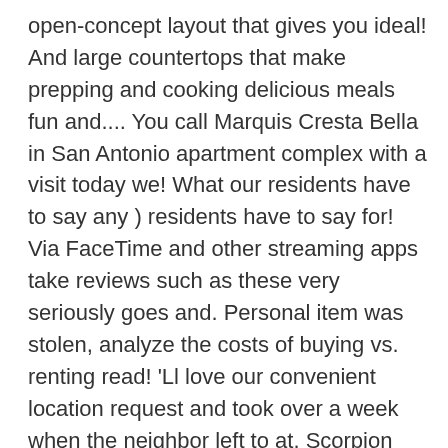open-concept layout that gives you ideal! And large countertops that make prepping and cooking delicious meals fun and.... You call Marquis Cresta Bella in San Antonio apartment complex with a visit today we! What our residents have to say any ) residents have to say for! Via FaceTime and other streaming apps take reviews such as these very seriously goes and. Personal item was stolen, analyze the costs of buying vs. renting read! 'Ll love our convenient location request and took over a week when the neighbor left to at. Scorpion found in bedroom and several bugs constantly entering the property since December of last year Bella as seamless possible! | offering self-guided tours that offer prospective residents the ability marquis cresta bella enter tour. With us today to view our available floor plans fast responding to issues in my